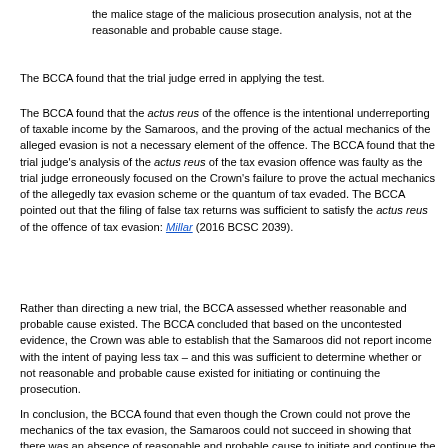the malice stage of the malicious prosecution analysis, not at the reasonable and probable cause stage.
The BCCA found that the trial judge erred in applying the test.
The BCCA found that the actus reus of the offence is the intentional underreporting of taxable income by the Samaroos, and the proving of the actual mechanics of the alleged evasion is not a necessary element of the offence. The BCCA found that the trial judge's analysis of the actus reus of the tax evasion offence was faulty as the trial judge erroneously focused on the Crown's failure to prove the actual mechanics of the allegedly tax evasion scheme or the quantum of tax evaded. The BCCA pointed out that the filing of false tax returns was sufficient to satisfy the actus reus of the offence of tax evasion: Millar (2016 BCSC 2039).
Rather than directing a new trial, the BCCA assessed whether reasonable and probable cause existed. The BCCA concluded that based on the uncontested evidence, the Crown was able to establish that the Samaroos did not report income with the intent of paying less tax – and this was sufficient to determine whether or not reasonable and probable cause existed for initiating or continuing the prosecution.
In conclusion, the BCCA found that even though the Crown could not prove the mechanics of the tax evasion, the Samaroos could not succeed in showing that there was an absence of reasonable and probable cause to initiate and continue the prosecution. Accordingly, the